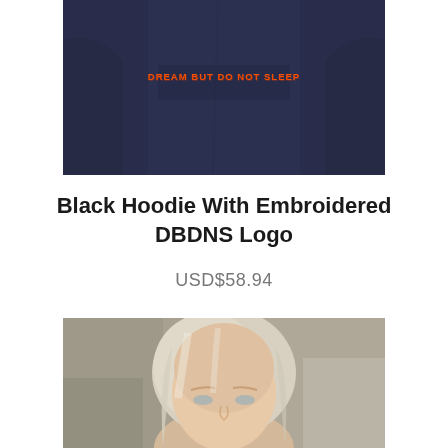[Figure (photo): Close-up photo of a dark navy hoodie with orange embroidered text reading 'DREAM BUT DO NOT SLEEP' on the chest area]
Black Hoodie With Embroidered DBDNS Logo
USD$58.94
[Figure (photo): Photo of a young blonde woman looking at the camera, wearing clothing, photographed outdoors with a blurred stone/concrete background]